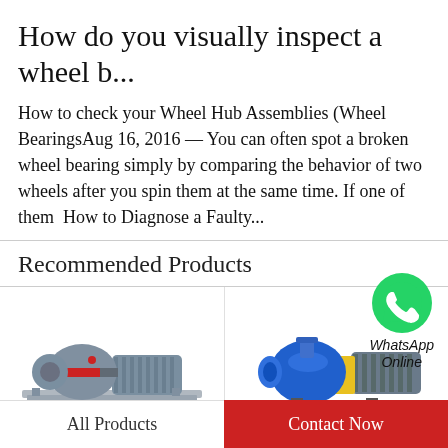How do you visually inspect a wheel b...
How to check your Wheel Hub Assemblies (Wheel BearingsAug 16, 2016 — You can often spot a broken wheel bearing simply by comparing the behavior of two wheels after you spin them at the same time. If one of them  How to Diagnose a Faulty...
Recommended Products
[Figure (logo): WhatsApp green circular icon with phone handset symbol, with label 'WhatsApp Online' in italic text below]
[Figure (photo): Grey industrial pump/motor assembly on a base plate, product photo on white background]
[Figure (photo): Blue and yellow industrial centrifugal pump with grey electric motor, product photo on white background]
All Products
Contact Now